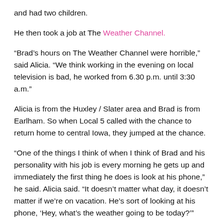and had two children.
He then took a job at The Weather Channel.
“Brad’s hours on The Weather Channel were horrible,” said Alicia. “We think working in the evening on local television is bad, he worked from 6.30 p.m. until 3:30 a.m.”
Alicia is from the Huxley / Slater area and Brad is from Earlham. So when Local 5 called with the chance to return home to central Iowa, they jumped at the chance.
“One of the things I think of when I think of Brad and his personality with his job is every morning he gets up and immediately the first thing he does is look at his phone,” he said. Alicia said. “It doesn’t matter what day, it doesn’t matter if we’re on vacation. He’s sort of looking at his phone, ‘Hey, what’s the weather going to be today?’”